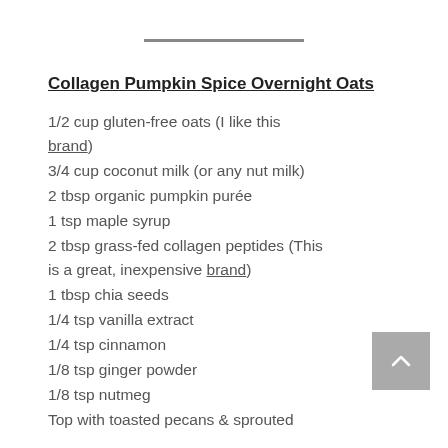Collagen Pumpkin Spice Overnight Oats
1/2 cup gluten-free oats (I like this brand)
3/4 cup coconut milk (or any nut milk)
2 tbsp organic pumpkin purée
1 tsp maple syrup
2 tbsp grass-fed collagen peptides (This is a great, inexpensive brand)
1 tbsp chia seeds
1/4 tsp vanilla extract
1/4 tsp cinnamon
1/8 tsp ginger powder
1/8 tsp nutmeg
Top with toasted pecans & sprouted